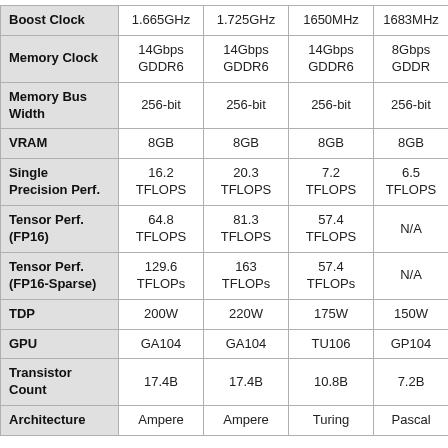|  | Col1 | Col2 | Col3 | Col4 |
| --- | --- | --- | --- | --- |
| Boost Clock | 1.665GHz | 1.725GHz | 1650MHz | 1683MHz |
| Memory Clock | 14Gbps
GDDR6 | 14Gbps
GDDR6 | 14Gbps
GDDR6 | 8Gbps
GDDR |
| Memory Bus Width | 256-bit | 256-bit | 256-bit | 256-bit |
| VRAM | 8GB | 8GB | 8GB | 8GB |
| Single Precision Perf. | 16.2
TFLOPS | 20.3
TFLOPS | 7.2
TFLOPS | 6.5
TFLOPS |
| Tensor Perf. (FP16) | 64.8
TFLOPS | 81.3
TFLOPS | 57.4
TFLOPS | N/A |
| Tensor Perf. (FP16-Sparse) | 129.6
TFLOPs | 163
TFLOPs | 57.4
TFLOPs | N/A |
| TDP | 200W | 220W | 175W | 150W |
| GPU | GA104 | GA104 | TU106 | GP104 |
| Transistor Count | 17.4B | 17.4B | 10.8B | 7.2B |
| Architecture | Ampere | Ampere | Turing | Pascal |